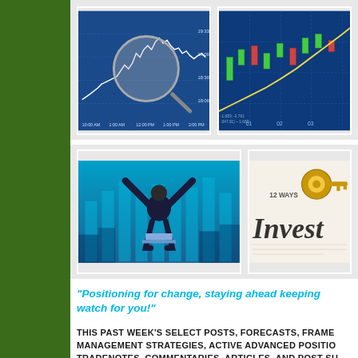[Figure (photo): Stock market chart with a magnifying glass overlaid on candlestick/line chart data on a blue background]
[Figure (photo): Blue financial chart with yellow trend line and stock price data, partially cropped]
[Figure (photo): Person with arms raised in victory in front of a stock market screen with bar charts]
[Figure (photo): Investment document with gold key on top, text reading 'Invest' visible, partially cropped]
"Positioning for change, staying ahead keeping watch for you!"
THIS PAST WEEK'S SELECT POSTS, FORECASTS, FRAME MANAGEMENT STRATEGIES, ACTIVE ADVANCED POSITION TRADENOTES, COMMENTARIES, ARTICLES, AND POST SU